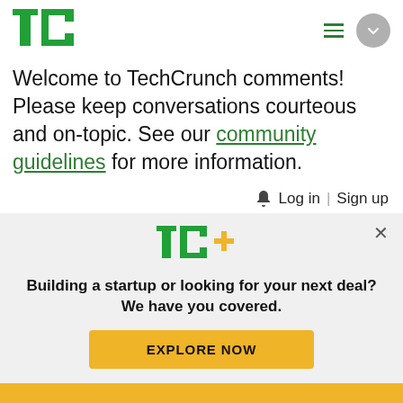[Figure (logo): TechCrunch TC logo in green]
Welcome to TechCrunch comments! Please keep conversations courteous and on-topic. See our community guidelines for more information.
🔔 Log in | Sign up
[Figure (screenshot): Comment input box with placeholder 'What do you think?' and GIF button]
[Figure (logo): TC+ logo in green and gold]
Building a startup or looking for your next deal? We have you covered.
EXPLORE NOW